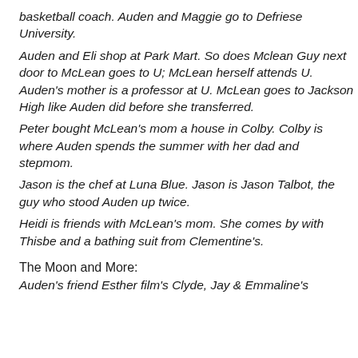basketball coach. Auden and Maggie go to Defriese University.
Auden and Eli shop at Park Mart. So does Mclean Guy next door to McLean goes to U; McLean herself attends U. Auden's mother is a professor at U. McLean goes to Jackson High like Auden did before she transferred.
Peter bought McLean's mom a house in Colby. Colby is where Auden spends the summer with her dad and stepmom.
Jason is the chef at Luna Blue. Jason is Jason Talbot, the guy who stood Auden up twice.
Heidi is friends with McLean's mom. She comes by with Thisbe and a bathing suit from Clementine's.
The Moon and More:
Auden's friend Esther film's Clyde, Jay & Emmaline's